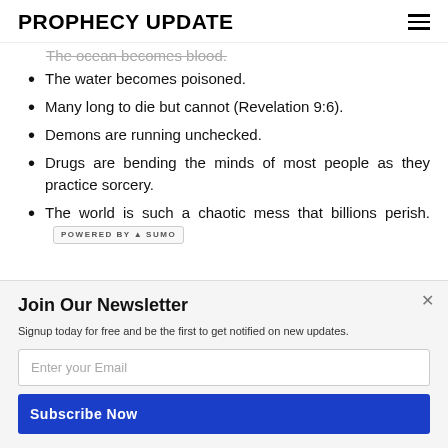PROPHECY UPDATE
The ocean becomes blood. [strikethrough/partial, top of visible area]
The water becomes poisoned.
Many long to die but cannot (Revelation 9:6).
Demons are running unchecked.
Drugs are bending the minds of most people as they practice sorcery.
The world is such a chaotic mess that billions perish.
Join Our Newsletter
Signup today for free and be the first to get notified on new updates.
Enter your Email
Subscribe Now